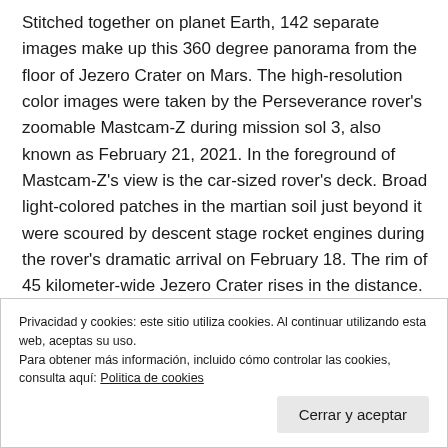Stitched together on planet Earth, 142 separate images make up this 360 degree panorama from the floor of Jezero Crater on Mars. The high-resolution color images were taken by the Perseverance rover's zoomable Mastcam-Z during mission sol 3, also known as February 21, 2021. In the foreground of Mastcam-Z's view is the car-sized rover's deck. Broad light-colored patches in the martian soil just beyond it were scoured by descent stage rocket engines during the rover's dramatic arrival on February 18. The rim of 45 kilometer-wide Jezero Crater rises in the distance. In the coming sols, Perseverance will explore the ancient lake-delta system
Privacidad y cookies: este sitio utiliza cookies. Al continuar utilizando esta web, aceptas su uso.
Para obtener más información, incluido cómo controlar las cookies, consulta aquí: Politica de cookies
Cerrar y aceptar